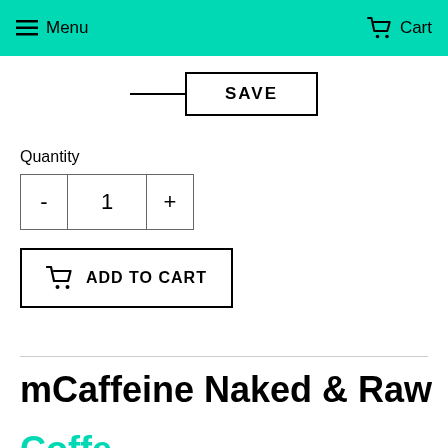Menu  Cart
SAVE
Quantity
- 1 +
ADD TO CART
mCaffeine Naked & Raw